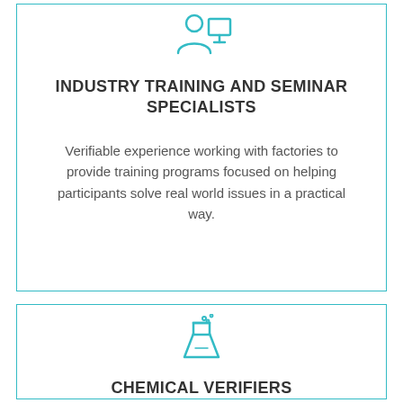[Figure (illustration): Teal outline icon of a person presenting at a board/screen (training/seminar icon)]
INDUSTRY TRAINING AND SEMINAR SPECIALISTS
Verifiable experience working with factories to provide training programs focused on helping participants solve real world issues in a practical way.
[Figure (illustration): Teal outline icon of a chemistry flask/beaker with bubbles (chemical icon)]
CHEMICAL VERIFIERS